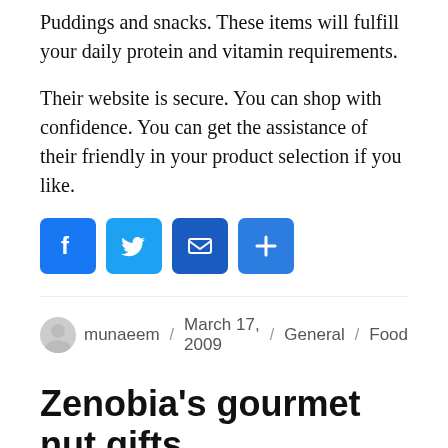Puddings and snacks. These items will fulfill your daily protein and vitamin requirements.
Their website is secure. You can shop with confidence. You can get the assistance of their friendly in your product selection if you like.
[Figure (other): Social share icons: Facebook (blue), Twitter (blue), Email (blue envelope), Share/Plus (blue)]
munaeem / March 17, 2009 / General / Food
Zenobia's gourmet nut gifts
Roasted & Salted nuts are a delectable and